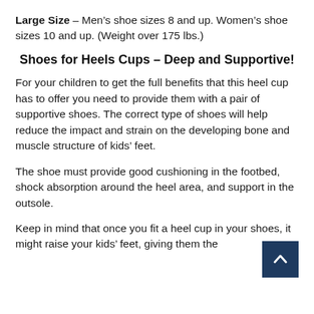Large Size – Men's shoe sizes 8 and up. Women's shoe sizes 10 and up. (Weight over 175 lbs.)
Shoes for Heels Cups – Deep and Supportive!
For your children to get the full benefits that this heel cup has to offer you need to provide them with a pair of supportive shoes. The correct type of shoes will help reduce the impact and strain on the developing bone and muscle structure of kids' feet.
The shoe must provide good cushioning in the footbed, shock absorption around the heel area, and support in the outsole.
Keep in mind that once you fit a heel cup in your shoes, it might raise your kids' feet, giving them the